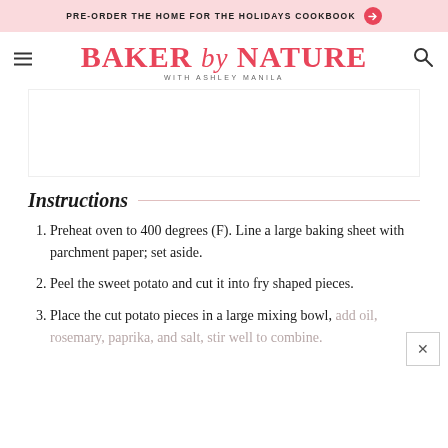PRE-ORDER THE HOME FOR THE HOLIDAYS COOKBOOK →
[Figure (logo): Baker by Nature with Ashley Manila logo in pink/red, with hamburger menu and search icon]
[Figure (other): Advertisement space placeholder]
Instructions
Preheat oven to 400 degrees (F). Line a large baking sheet with parchment paper; set aside.
Peel the sweet potato and cut it into fry shaped pieces.
Place the cut potato pieces in a large mixing bowl, add oil, rosemary, paprika, and salt, stir well to combine.